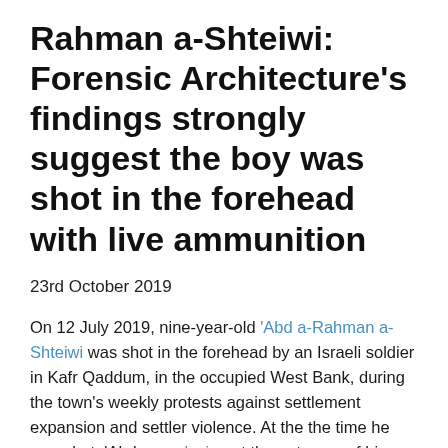Rahman a-Shteiwi: Forensic Architecture's findings strongly suggest the boy was shot in the forehead with live ammunition
23rd October 2019
On 12 July 2019, nine-year-old 'Abd a-Rahman a-Shteiwi was shot in the forehead by an Israeli soldier in Kafr Qaddum, in the occupied West Bank, during the town's weekly protests against settlement expansion and settler violence. At the the time he was shot, 'Abd was playing at the entrance of his friend's house, over 100 metres